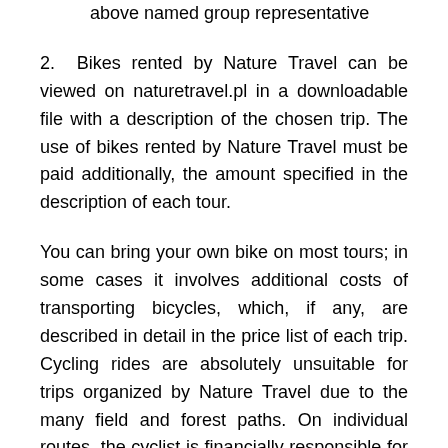above named group representative
2. Bikes rented by Nature Travel can be viewed on naturetravel.pl in a downloadable file with a description of the chosen trip. The use of bikes rented by Nature Travel must be paid additionally, the amount specified in the description of each tour.
You can bring your own bike on most tours; in some cases it involves additional costs of transporting bicycles, which, if any, are described in detail in the price list of each trip. Cycling rides are absolutely unsuitable for trips organized by Nature Travel due to the many field and forest paths. On individual routes, the cyclist is financially responsible for the rented bike (in case of damage or loss). We recommend that you bring your own bicycle helmet.
3. Payment terms